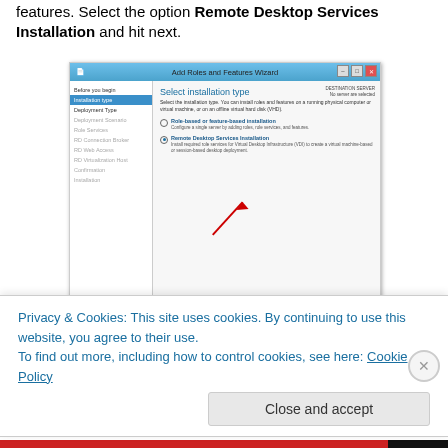features. Select the option Remote Desktop Services Installation and hit next.
[Figure (screenshot): Windows Server Add Roles and Features Wizard showing 'Select installation type' dialog. The 'Remote Desktop Services Installation' radio option is selected. Two red arrows point to the selected option and the Next button.]
There are two different deployment types: Standard and
Privacy & Cookies: This site uses cookies. By continuing to use this website, you agree to their use.
To find out more, including how to control cookies, see here: Cookie Policy
Close and accept